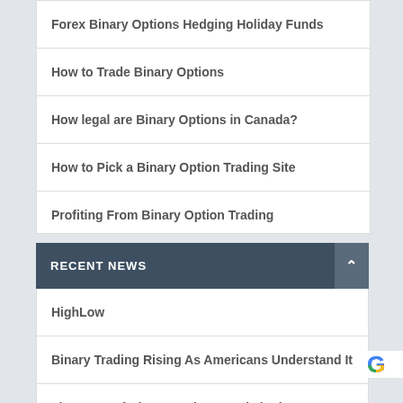Forex Binary Options Hedging Holiday Funds
How to Trade Binary Options
How legal are Binary Options in Canada?
How to Pick a Binary Option Trading Site
Profiting From Binary Option Trading
RECENT NEWS
HighLow
Binary Trading Rising As Americans Understand It
The State Of Binary Options Trade in the US